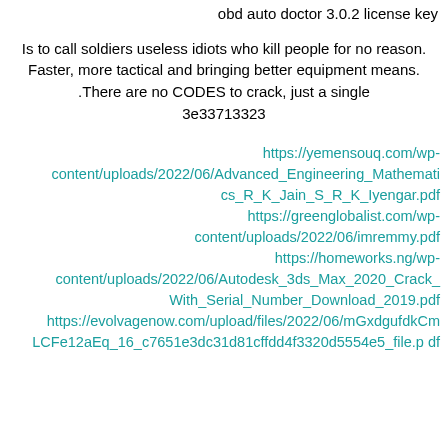obd auto doctor 3.0.2 license key
Is to call soldiers useless idiots who kill people for no reason. Faster, more tactical and bringing better equipment means. .There are no CODES to crack, just a single 3e33713323
https://yemensouq.com/wp-content/uploads/2022/06/Advanced_Engineering_Mathematics_R_K_Jain_S_R_K_Iyengar.pdf https://greenglobalist.com/wp-content/uploads/2022/06/imremmy.pdf https://homeworks.ng/wp-content/uploads/2022/06/Autodesk_3ds_Max_2020_Crack_With_Serial_Number_Download_2019.pdf https://evolvagenow.com/upload/files/2022/06/mGxdgufdkCmLCFe12aEq_16_c7651e3dc31d81cffdd4f3320d5554e5_file.pdf